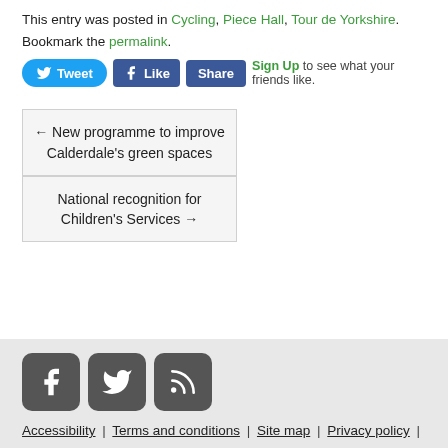This entry was posted in Cycling, Piece Hall, Tour de Yorkshire. Bookmark the permalink.
[Figure (screenshot): Social sharing buttons: Tweet (Twitter), Like (Facebook), Share, and Sign Up prompt]
← New programme to improve Calderdale's green spaces
National recognition for Children's Services →
[Figure (screenshot): Footer social media icons: Facebook, Twitter, RSS feed]
Accessibility | Terms and conditions | Site map | Privacy policy |